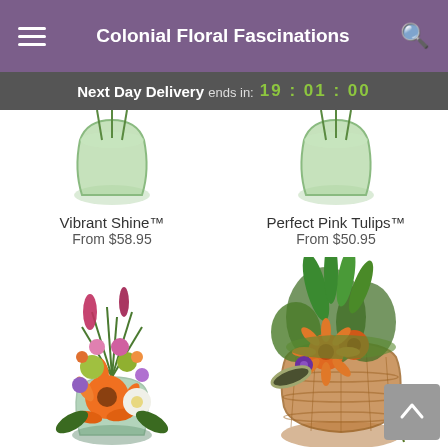Colonial Floral Fascinations
Next Day Delivery ends in: 19 : 01 : 00
[Figure (photo): Top portion of two floral product images showing green glass vases with flowers, partially cropped]
Vibrant Shine™
From $58.95
Perfect Pink Tulips™
From $50.95
[Figure (photo): Colorful mixed flower bouquet in a glass vase with orange gerbera daisies, white flowers, green pompoms, purple and pink blooms]
[Figure (photo): Plant arrangement in an orange wicker basket with orange mums, green foliage, purple flowers, and trailing ivy]